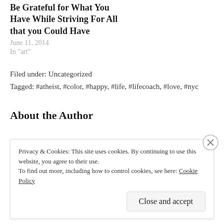Be Grateful for What You Have While Striving For All that you Could Have
June 11, 2014
In "art"
Filed under: Uncategorized
Tagged: #atheist, #color, #happy, #life, #lifecoach, #love, #nyc
About the Author
Privacy & Cookies: This site uses cookies. By continuing to use this website, you agree to their use.
To find out more, including how to control cookies, see here: Cookie Policy
Close and accept